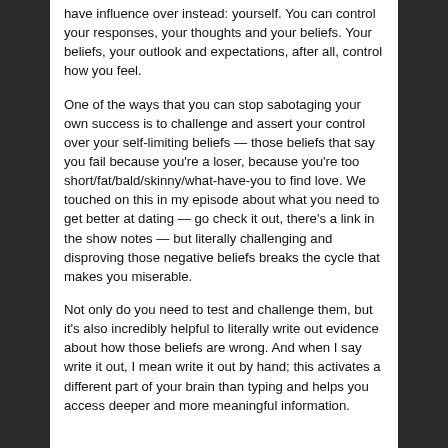have influence over instead: yourself. You can control your responses, your thoughts and your beliefs. Your beliefs, your outlook and expectations, after all, control how you feel.
One of the ways that you can stop sabotaging your own success is to challenge and assert your control over your self-limiting beliefs — those beliefs that say you fail because you're a loser, because you're too short/fat/bald/skinny/what-have-you to find love. We touched on this in my episode about what you need to get better at dating — go check it out, there's a link in the show notes — but literally challenging and disproving those negative beliefs breaks the cycle that makes you miserable.
Not only do you need to test and challenge them, but it's also incredibly helpful to literally write out evidence about how those beliefs are wrong. And when I say write it out, I mean write it out by hand; this activates a different part of your brain than typing and helps you access deeper and more meaningful information.